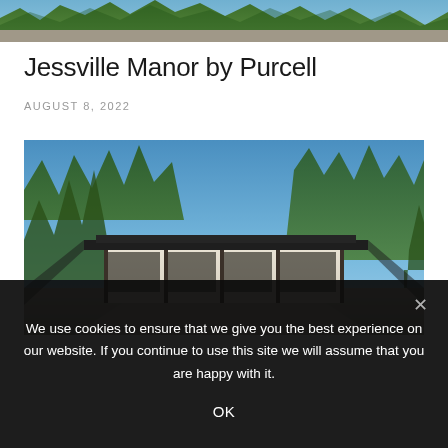[Figure (photo): Partial top of a cropped photo showing greenery and outdoor scenery]
Jessville Manor by Purcell
AUGUST 8, 2022
[Figure (photo): Exterior photograph of Jessville Manor by Purcell — a low-profile Prairie-style house with wide overhanging roof, light stucco walls, dark window frames, surrounded by mature trees under a clear blue sky]
We use cookies to ensure that we give you the best experience on our website. If you continue to use this site we will assume that you are happy with it.
OK